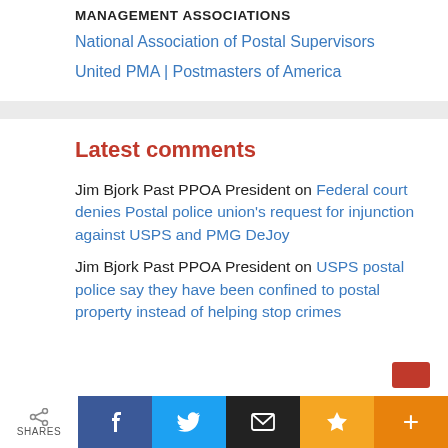MANAGEMENT ASSOCIATIONS
National Association of Postal Supervisors
United PMA | Postmasters of America
Latest comments
Jim Bjork Past PPOA President on Federal court denies Postal police union's request for injunction against USPS and PMG DeJoy
Jim Bjork Past PPOA President on USPS postal police say they have been confined to postal property instead of helping stop crimes
SHARES | Facebook | Twitter | Email | Star | +